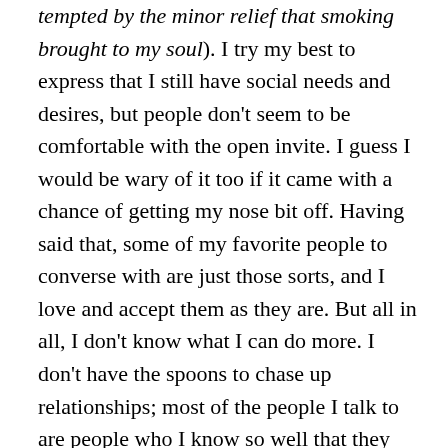tempted by the minor relief that smoking brought to my soul). I try my best to express that I still have social needs and desires, but people don't seem to be comfortable with the open invite. I guess I would be wary of it too if it came with a chance of getting my nose bit off. Having said that, some of my favorite people to converse with are just those sorts, and I love and accept them as they are. But all in all, I don't know what I can do more. I don't have the spoons to chase up relationships; most of the people I talk to are people who I know so well that they cost me no spoons to converse with over the course of the day. I have faith that any friend